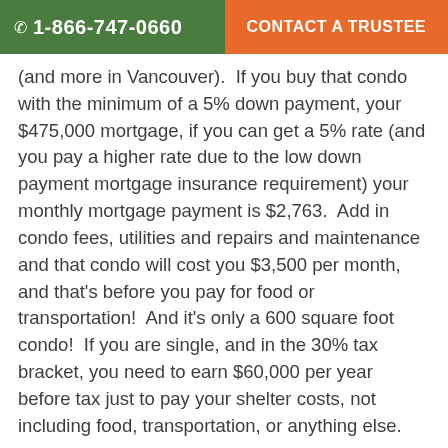☎ 1-866-747-0660   CONTACT A TRUSTEE
(and more in Vancouver).  If you buy that condo with the minimum of a 5% down payment, your $475,000 mortgage, if you can get a 5% rate (and you pay a higher rate due to the low down payment mortgage insurance requirement) your monthly mortgage payment is $2,763.  Add in condo fees, utilities and repairs and maintenance and that condo will cost you $3,500 per month, and that's before you pay for food or transportation!  And it's only a 600 square foot condo!  If you are single, and in the 30% tax bracket, you need to earn $60,000 per year before tax just to pay your shelter costs, not including food, transportation, or anything else.
It's those numbers that convince Hilliard Macbeth that we are in a housing bubble, and it's hard to argue with him.